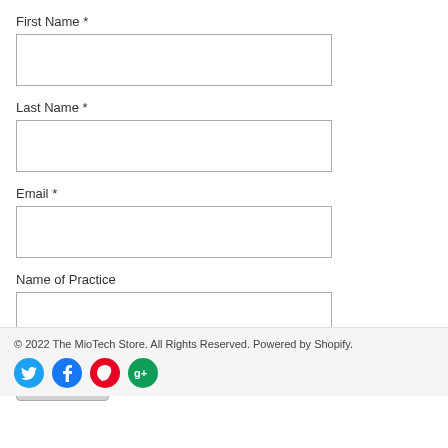First Name *
[Figure (other): Empty text input field for First Name]
Last Name *
[Figure (other): Empty text input field for Last Name]
Email *
[Figure (other): Empty text input field for Email]
Name of Practice
[Figure (other): Empty text input field for Name of Practice]
[Figure (other): Submit button]
© 2022 The MioTech Store. All Rights Reserved. Powered by Shopify.